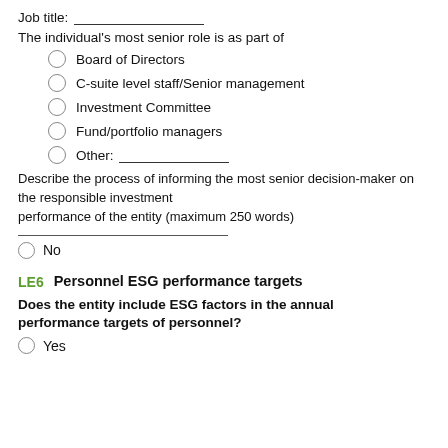Job title: _______________
The individual's most senior role is as part of
Board of Directors
C-suite level staff/Senior management
Investment Committee
Fund/portfolio managers
Other: _______________
Describe the process of informing the most senior decision-maker on the responsible investment performance of the entity (maximum 250 words)
No
LE6  Personnel ESG performance targets
Does the entity include ESG factors in the annual performance targets of personnel?
Yes